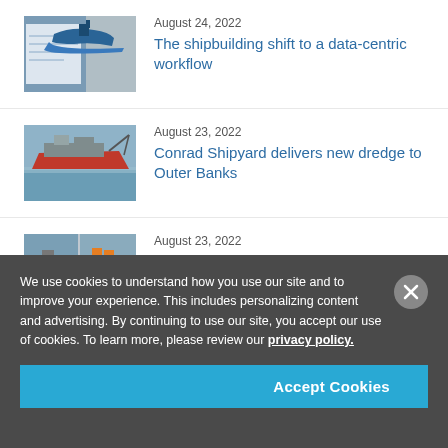[Figure (photo): Thumbnail photo of a ship with blueprints/documents, illustrating shipbuilding data workflow article]
August 24, 2022
The shipbuilding shift to a data-centric workflow
[Figure (photo): Thumbnail photo of a large vessel/dredge ship on water]
August 23, 2022
Conrad Shipyard delivers new dredge to Outer Banks
[Figure (photo): Thumbnail showing two ship images side by side on water]
August 23, 2022
Charting error led to the striking of an offshore oil platform — NTSB report
We use cookies to understand how you use our site and to improve your experience. This includes personalizing content and advertising. By continuing to use our site, you accept our use of cookies. To learn more, please review our privacy policy.